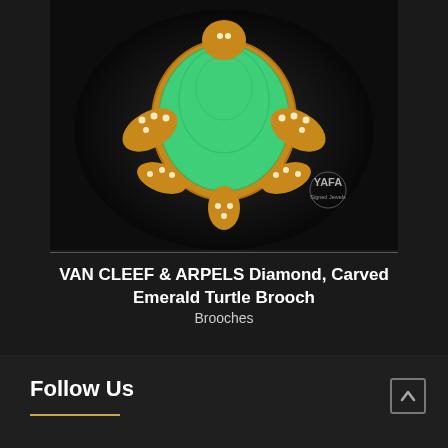[Figure (photo): Close-up photograph of a Van Cleef & Arpels turtle brooch featuring a large carved green emerald body, gold setting with diamond-studded flippers and tail, on a black background. YAFA Signed Jewels watermark in bottom right corner.]
VAN CLEEF & ARPELS Diamond, Carved Emerald Turtle Brooch
Brooches
Follow Us